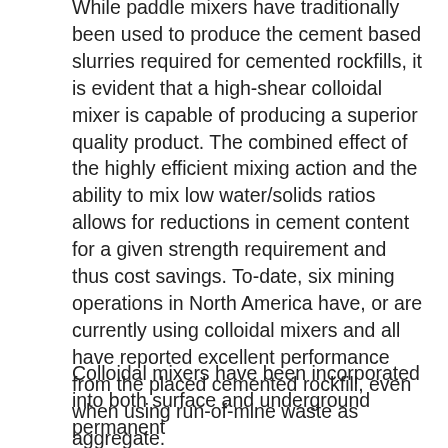While paddle mixers have traditionally been used to produce the cement based slurries required for cemented rockfills, it is evident that a high-shear colloidal mixer is capable of producing a superior quality product. The combined effect of the highly efficient mixing action and the ability to mix low water/solids ratios allows for reductions in cement content for a given strength requirement and thus cost savings. To-date, six mining operations in North America have, or are currently using colloidal mixers and all have reported excellent performance from the placed cemented rockfill, even when using run-of-mine waste as aggregate.
Colloidal mixers have been incorporated into both surface and underground permanent